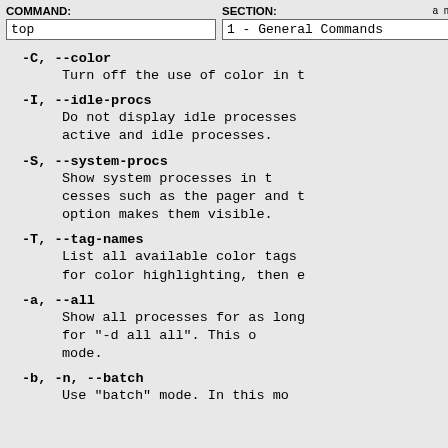COMMAND: top   SECTION: 1 - General Commands
-C, --color
    Turn off the use of color in t
-I, --idle-procs
    Do not display idle processes active and idle processes.
-S, --system-procs
    Show system processes in t cesses such as the pager and t option makes them visible.
-T, --tag-names
    List all available color tags for color highlighting, then e
-a, --all
    Show all processes for as long for "-d all all". This o mode.
-b, -n, --batch
    Use "batch" mode. In this mo